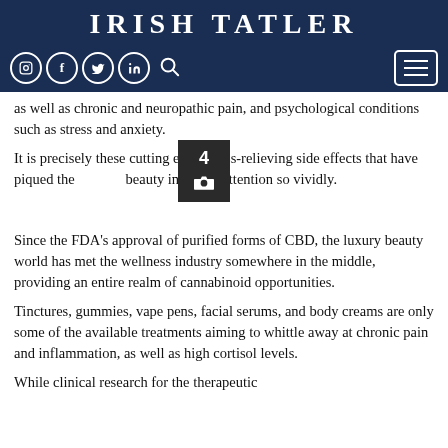IRISH TATLER
as well as chronic and neuropathic pain, and psychological conditions such as stress and anxiety.
It is precisely these cutting edge stress-relieving side effects that have piqued the beauty interest's attention so vividly.
[Figure (other): Dark overlay image thumbnail with number 4 and camera icon]
Since the FDA's approval of purified forms of CBD, the luxury beauty world has met the wellness industry somewhere in the middle, providing an entire realm of cannabinoid opportunities.
Tinctures, gummies, vape pens, facial serums, and body creams are only some of the available treatments aiming to whittle away at chronic pain and inflammation, as well as high cortisol levels.
While clinical research for the therapeutic